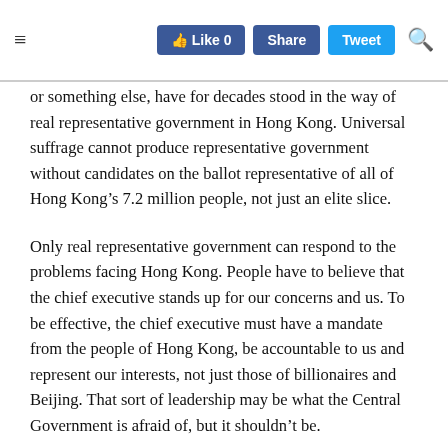≡  Like 0  Share  Tweet  🔍
or something else, have for decades stood in the way of real representative government in Hong Kong. Universal suffrage cannot produce representative government without candidates on the ballot representative of all of Hong Kong's 7.2 million people, not just an elite slice.
Only real representative government can respond to the problems facing Hong Kong. People have to believe that the chief executive stands up for our concerns and us. To be effective, the chief executive must have a mandate from the people of Hong Kong, be accountable to us and represent our interests, not just those of billionaires and Beijing. That sort of leadership may be what the Central Government is afraid of, but it shouldn't be.
There is no inherent conflict with Hong Kong's chief executive being accountable to the people of Hong Kong and to Beijing. Both sides essentially want the same thing, a prosperous, safe and secure Hong Kong, not just in their joint China. Frank, free...